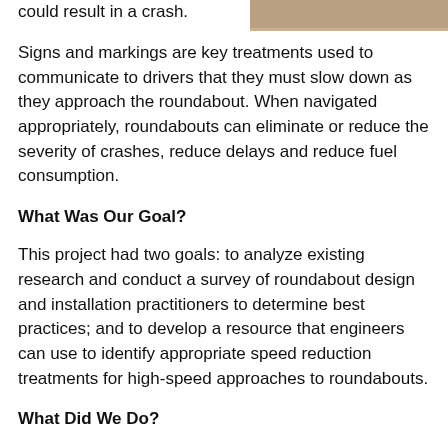could result in a crash.
[Figure (photo): Aerial or roadside photograph of a roundabout approach road]
Signs and markings are key treatments used to communicate to drivers that they must slow down as they approach the roundabout. When navigated appropriately, roundabouts can eliminate or reduce the severity of crashes, reduce delays and reduce fuel consumption.
What Was Our Goal?
This project had two goals: to analyze existing research and conduct a survey of roundabout design and installation practitioners to determine best practices; and to develop a resource that engineers can use to identify appropriate speed reduction treatments for high-speed approaches to roundabouts.
What Did We Do?